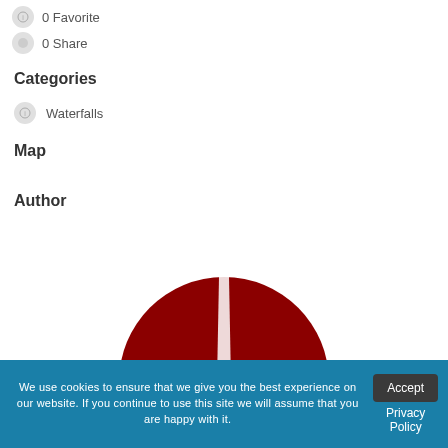0 Favorite
0 Share
Categories
Waterfalls
Map
Author
[Figure (illustration): Dark red semicircle shape representing an author avatar/profile image, partially visible at the bottom of the page]
We use cookies to ensure that we give you the best experience on our website. If you continue to use this site we will assume that you are happy with it.
Accept
Privacy Policy